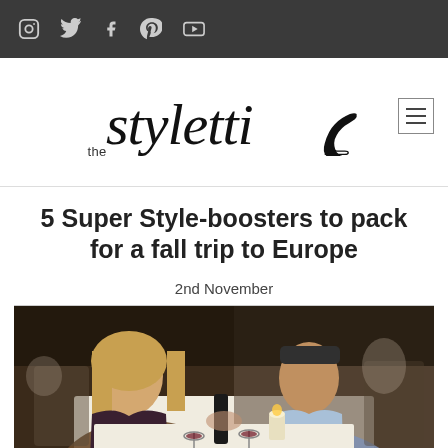Social media navigation bar with icons: Instagram, Twitter, Facebook, Pinterest, YouTube
[Figure (logo): The Styletti blog logo with cursive script text and high heel shoe icon]
5 Super Style-boosters to pack for a fall trip to Europe
2nd November
[Figure (photo): A couple dining at a restaurant. A blonde woman in a dark dress and a man in a light blue shirt sitting at a white tablecloth table with wine glasses, candles, and dining settings.]